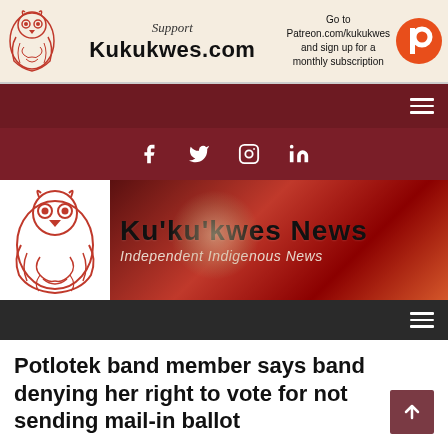[Figure (screenshot): Kukukwes.com support ad banner with owl logo, 'Support Kukukwes.com' text, and Patreon subscription call-to-action with Patreon logo]
[Figure (screenshot): Dark red navigation bar with hamburger menu icon on the right]
[Figure (screenshot): Dark red social media bar with Facebook, Twitter, Instagram, and LinkedIn icons]
[Figure (logo): Ku'ku'kwes News logo banner with red owl illustration on left and 'Ku'ku'kwes News — Independent Indigenous News' text on right with red/brown background]
[Figure (screenshot): Dark navigation bar with hamburger menu icon on the right]
Potlotek band member says band denying her right to vote for not sending mail-in ballot